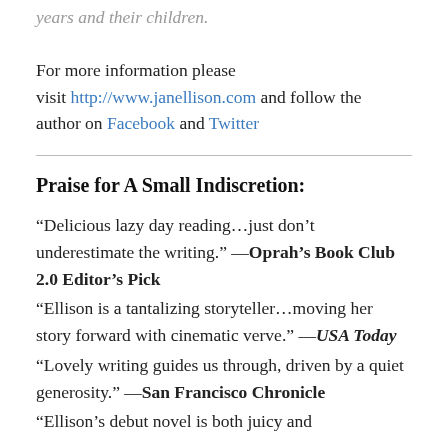years and their children.

For more information please visit http://www.janellison.com and follow the author on Facebook and Twitter
Praise for A Small Indiscretion:
“Delicious lazy day reading…just don’t underestimate the writing.” —Oprah’s Book Club 2.0 Editor’s Pick
“Ellison is a tantalizing storyteller…moving her story forward with cinematic verve.” —USA Today
“Lovely writing guides us through, driven by a quiet generosity.” —San Francisco Chronicle
“Ellison’s debut novel is both juicy and